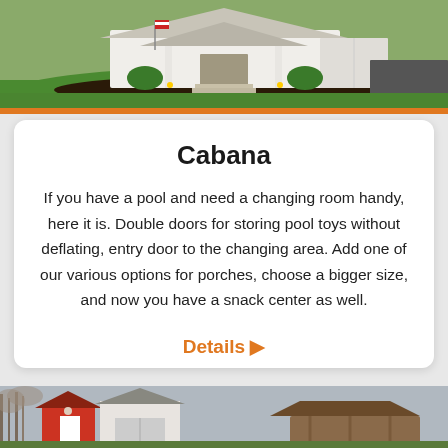[Figure (photo): Photo of a white cabana building with a porch on a green lawn with landscaping and an American flag]
Cabana
If you have a pool and need a changing room handy, here it is. Double doors for storing pool toys without deflating, entry door to the changing area. Add one of our various options for porches, choose a bigger size, and now you have a snack center as well.
Details ▶
[Figure (photo): Photo of red barn buildings and a gazebo structure]